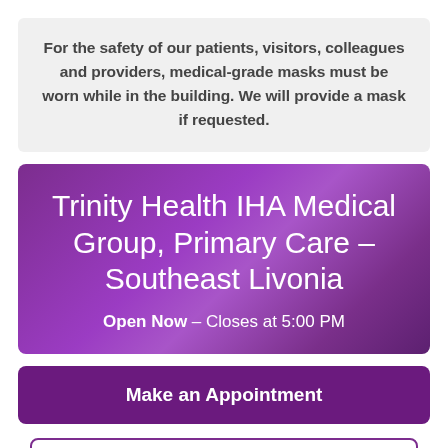For the safety of our patients, visitors, colleagues and providers, medical-grade masks must be worn while in the building. We will provide a mask if requested.
Trinity Health IHA Medical Group, Primary Care – Southeast Livonia
Open Now – Closes at 5:00 PM
Make an Appointment
MyChart